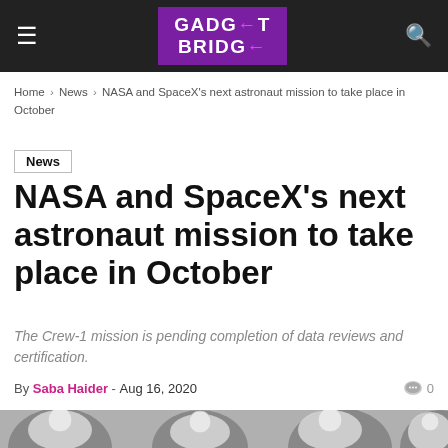GADGET BRIDGE (navigation bar)
Home › News › NASA and SpaceX's next astronaut mission to take place in October
News
NASA and SpaceX's next astronaut mission to take place in October
The Crew-1 mission is pending completion of data reviews and certification.
By Saba Haider - Aug 16, 2020  0
[Figure (photo): Four astronauts in white spacesuits seated inside a spacecraft, viewed through hatch windows]